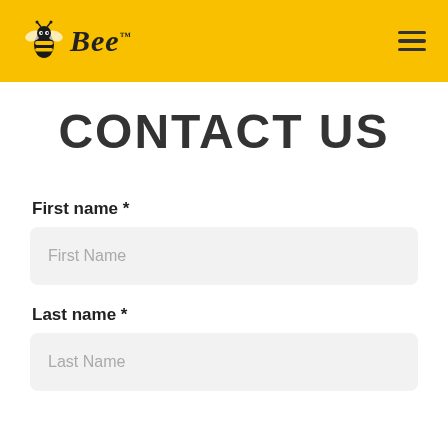Bee™
CONTACT US
First name *
First Name
Last name *
Last Name